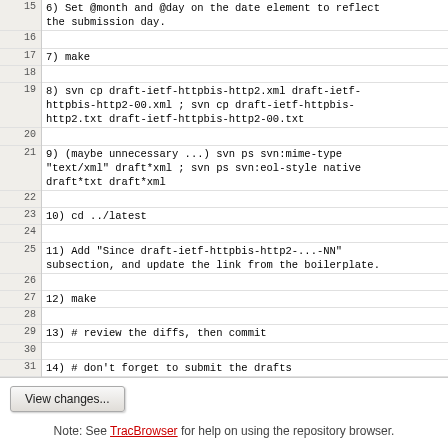| line | code |
| --- | --- |
| 15 | 6) Set @month and @day on the date element to reflect
   the submission day. |
| 16 |  |
| 17 | 7) make |
| 18 |  |
| 19 | 8) svn cp draft-ietf-httpbis-http2.xml draft-ietf-
   httpbis-http2-00.xml ; svn cp draft-ietf-httpbis-
   http2.txt draft-ietf-httpbis-http2-00.txt |
| 20 |  |
| 21 | 9) (maybe unnecessary ...) svn ps svn:mime-type
   "text/xml" draft*xml ; svn ps svn:eol-style native
   draft*txt draft*xml |
| 22 |  |
| 23 | 10) cd ../latest |
| 24 |  |
| 25 | 11) Add "Since draft-ietf-httpbis-http2-...-NN"
    subsection, and update the link from the boilerplate. |
| 26 |  |
| 27 | 12) make |
| 28 |  |
| 29 | 13) # review the diffs, then commit |
| 30 |  |
| 31 | 14) # don't forget to submit the drafts |
View changes...
Note: See TracBrowser for help on using the repository browser.
Download in other formats:
Plain Text | Original Format
Powered by Trac 1.0.10 By Edgewall Software. Visit the Trac open source project at http://trac.edgewall.org/